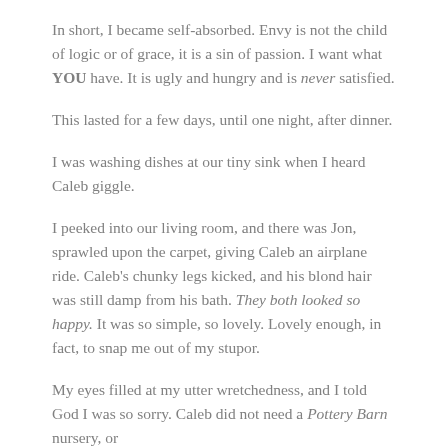In short, I became self-absorbed. Envy is not the child of logic or of grace, it is a sin of passion. I want what YOU have. It is ugly and hungry and is never satisfied.
This lasted for a few days, until one night, after dinner.
I was washing dishes at our tiny sink when I heard Caleb giggle.
I peeked into our living room, and there was Jon, sprawled upon the carpet, giving Caleb an airplane ride. Caleb's chunky legs kicked, and his blond hair was still damp from his bath. They both looked so happy. It was so simple, so lovely. Lovely enough, in fact, to snap me out of my stupor.
My eyes filled at my utter wretchedness, and I told God I was so sorry. Caleb did not need a Pottery Barn nursery, or